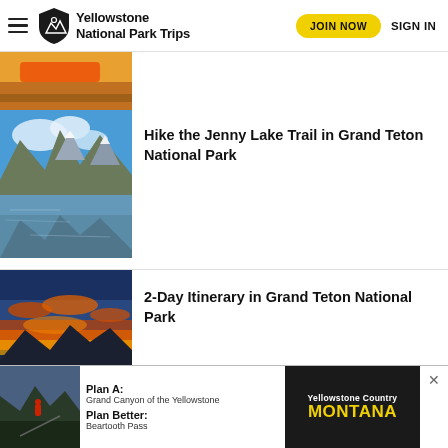Yellowstone National Park Trips — JOIN NOW  SIGN IN
[Figure (photo): Partial view of outdoor gear/kayak in orange color — top of page, cropped]
[Figure (photo): Jenny Lake with mountain reflections and blue sky with clouds, Grand Teton National Park]
Hike the Jenny Lake Trail in Grand Teton National Park
[Figure (photo): Sunset over mountain lake with dramatic orange and yellow clouds reflected on water, Grand Teton National Park]
2-Day Itinerary in Grand Teton National Park
[Figure (photo): Advertisement: Yellowstone Country Montana — Plan A: Grand Canyon of the Yellowstone, Plan Better: Beartooth Pass]
Plan A: Grand Canyon of the Yellowstone
Plan Better: Beartooth Pass